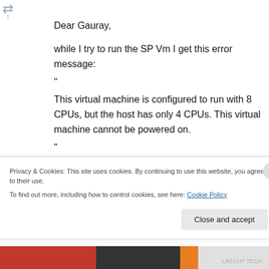[Figure (logo): Small logo icon with arrows in top-left corner]
Dear Gauray,
while I try to run the SP Vm I get this error message:
"
This virtual machine is configured to run with 8 CPUs, but the host has only 4 CPUs. This virtual machine cannot be powered on.
"
How may I manage it?
Privacy & Cookies: This site uses cookies. By continuing to use this website, you agree to their use.
To find out more, including how to control cookies, see here: Cookie Policy